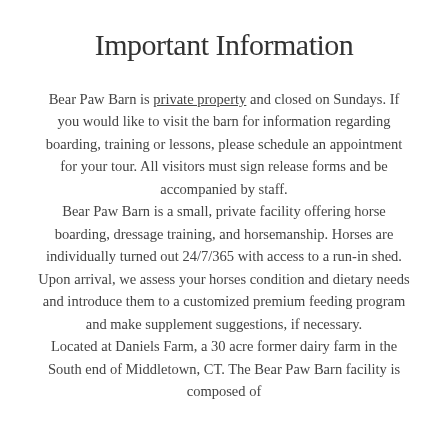Important Information
Bear Paw Barn is private property and closed on Sundays. If you would like to visit the barn for information regarding boarding, training or lessons, please schedule an appointment for your tour. All visitors must sign release forms and be accompanied by staff.
Bear Paw Barn is a small, private facility offering horse boarding, dressage training, and horsemanship. Horses are individually turned out 24/7/365 with access to a run-in shed. Upon arrival, we assess your horses condition and dietary needs and introduce them to a customized premium feeding program and make supplement suggestions, if necessary.
Located at Daniels Farm, a 30 acre former dairy farm in the South end of Middletown, CT. The Bear Paw Barn facility is composed of